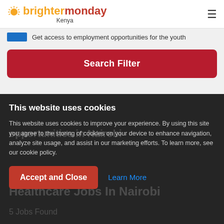[Figure (logo): BrighterMonday Kenya logo with sun icon]
Get access to employment opportunities for the youth
Search Filter
This website uses cookies
This website uses cookies to improve your experience. By using this site you agree to the storing of cookies on your device to enhance navigation, analyze site usage, and assist in our marketing efforts. To learn more, see our cookie policy.
Healthcare Jobs In Nairobi
5 Jobs Found
Accept and Close
Learn More